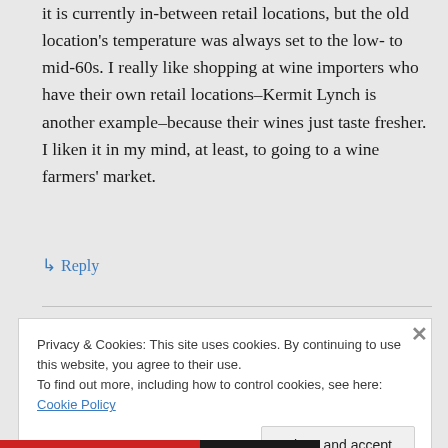it is currently in-between retail locations, but the old location's temperature was always set to the low- to mid-60s. I really like shopping at wine importers who have their own retail locations–Kermit Lynch is another example–because their wines just taste fresher. I liken it in my mind, at least, to going to a wine farmers' market.
↳ Reply
Privacy & Cookies: This site uses cookies. By continuing to use this website, you agree to their use. To find out more, including how to control cookies, see here: Cookie Policy
Close and accept